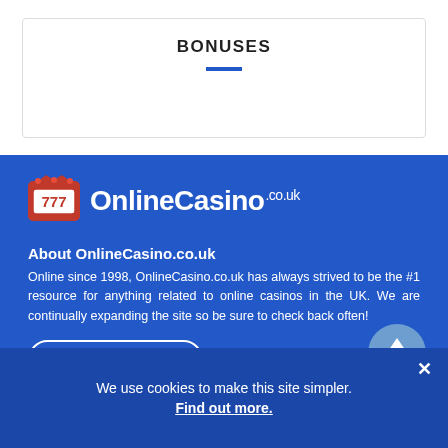BONUSES
[Figure (logo): 777 OnlineCasino.co.uk logo with slot machine icon showing 777]
About OnlineCasino.co.uk
Online since 1998, OnlineCasino.co.uk has always strived to be the #1 resource for anything related to online casinos in the UK. We are continually expanding the site so be sure to check back often!
OCUK Authors
Contact OnlineCasino.co.uk
We use cookies to make this site simpler. Find out more.